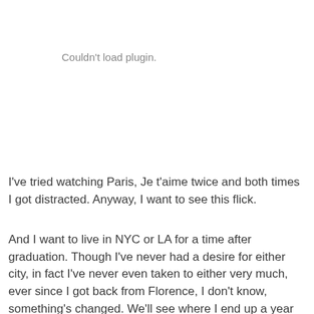Couldn't load plugin.
I've tried watching Paris, Je t'aime twice and both times I got distracted. Anyway, I want to see this flick.
And I want to live in NYC or LA for a time after graduation. Though I've never had a desire for either city, in fact I've never even taken to either very much, ever since I got back from Florence, I don't know, something's changed. We'll see where I end up a year from now. I'm just restless here. I've spent my entire life here. That's probably all this city will ever be to me, home.